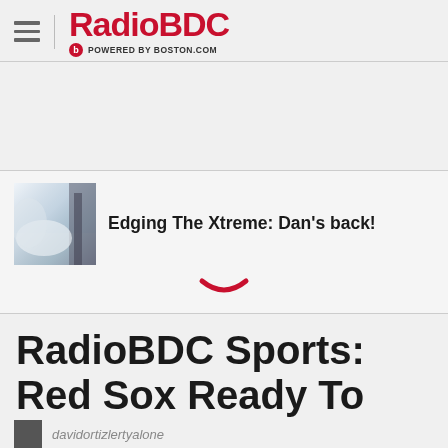RadioBDC POWERED BY BOSTON.COM
[Figure (screenshot): Advertisement / blank white space area]
[Figure (photo): Thumbnail of a snowy winter/skiing scene]
Edging The Xtreme: Dan’s back!
[Figure (illustration): Red chevron/down-arrow expand icon]
RadioBDC Sports: Red Sox Ready To Sell?
davidortizlertyalone